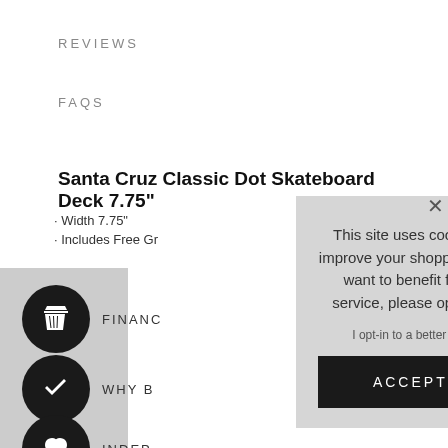REVIEWS
FAQS
Santa Cruz Classic Dot Skateboard Deck 7.75"
· Width 7.75"
· Includes Free Gr
FINANC
WHY B
INDEP
This site uses cookies to provide and improve your shopping experience. If you want to benefit from this improved service, please opt-in. Cookies Page.

I opt-in to a better browsing experience
ACCEPT COOKIES